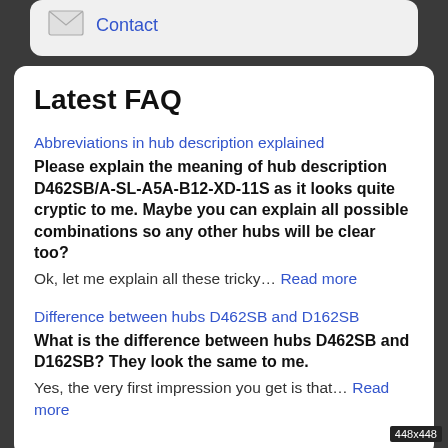Contact
Latest FAQ
Abbreviations in hub description explained
Please explain the meaning of hub description D462SB/A-SL-A5A-B12-XD-11S as it looks quite cryptic to me. Maybe you can explain all possible combinations so any other hubs will be clear too?
Ok, let me explain all these tricky... Read more
Difference between hubs D462SB and D162SB
What is the difference between hubs D462SB and D162SB? They look the same to me.
Yes, the very first impression you get is that... Read more